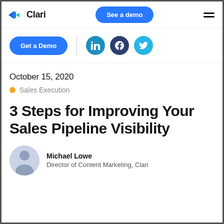Clari | See a demo
[Figure (logo): Clari logo with arrow icon and wordmark]
[Figure (other): Get a Demo button and social icons for LinkedIn, Facebook, Twitter]
October 15, 2020
Sales Execution
3 Steps for Improving Your Sales Pipeline Visibility
Michael Lowe
Director of Content Marketing, Clari